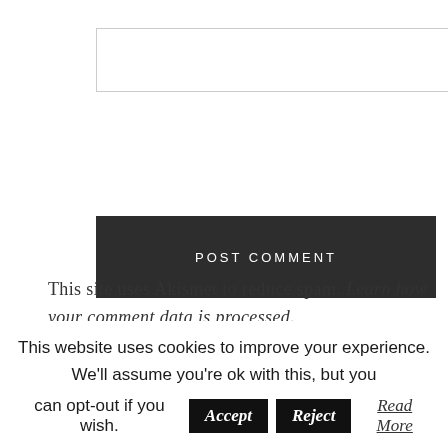[Figure (other): Empty text input box for comment form]
POST COMMENT
This site uses Akismet to reduce spam. Learn how your comment data is processed.
[Figure (photo): Circular avatar photo of a woman with blonde hair, smiling]
This website uses cookies to improve your experience. We'll assume you're ok with this, but you can opt-out if you wish.  Accept  Reject  Read More